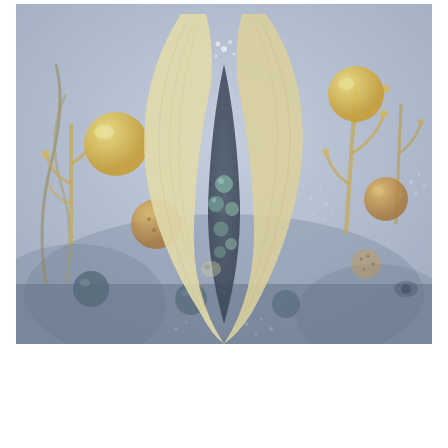[Figure (illustration): A surrealist or fantasy painting depicting an underwater or dreamlike scene. A large luminous pale-cream/white organic form resembling a seed pod or botanical structure hangs prominently in the center, opening to reveal small teal spheres inside. Surrounding it are golden-yellow spherical fruits or orbs, golden branching coral or cactus-like structures, and scattered small white dots suggesting bubbles or stars. The background is a muted blue-gray with hints of dark underwater flora. The overall palette is muted: soft blues, yellows, creams, and golds, giving a faded, ethereal quality.]